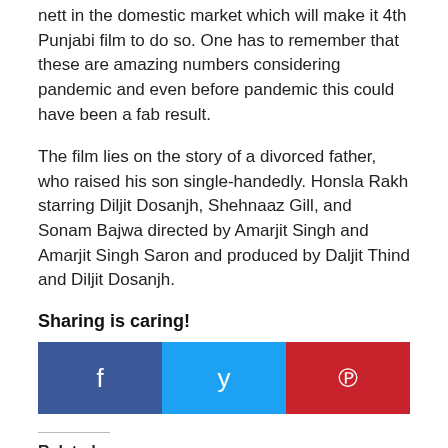nett in the domestic market which will make it 4th Punjabi film to do so. One has to remember that these are amazing numbers considering pandemic and even before pandemic this could have been a fab result.
The film lies on the story of a divorced father, who raised his son single-handedly. Honsla Rakh starring Diljit Dosanjh, Shehnaaz Gill, and Sonam Bajwa directed by Amarjit Singh and Amarjit Singh Saron and produced by Daljit Thind and Diljit Dosanjh.
Sharing is caring!
[Figure (infographic): Social sharing buttons: Facebook (blue), Twitter (cyan), Pinterest (red) with respective icons]
Related
[Figure (photo): Two related article thumbnail images side by side]